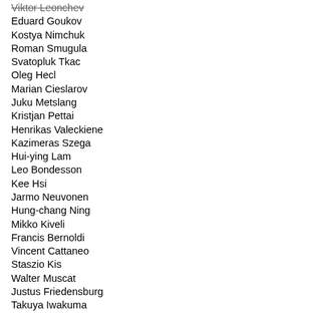Viktor Leonchev
Eduard Goukov
Kostya Nimchuk
Roman Smugula
Svatopluk Tkac
Oleg Hecl
Marian Cieslarov
Juku Metslang
Kristjan Pettai
Henrikas Valeckiene
Kazimeras Szega
Hui-ying Lam
Leo Bondesson
Kee Hsi
Jarmo Neuvonen
Hung-chang Ning
Mikko Kiveli
Francis Bernoldi
Vincent Cattaneo
Staszio Kis
Walter Muscat
Justus Friedensburg
Takuya Iwakuma
Hiroyuki Kanaya
Nursultan Ashimin
Askar Torshina
Egon Gadient
Bruno Henchoz
Eilif Arup
Vyacheslav Lukashenko
Ulrik Haegmann
Hongwu Ngui
Kiril Sharnin